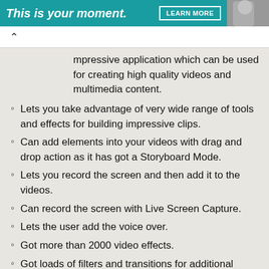[Figure (other): Advertisement banner with teal background showing 'This is your moment.' text, a LEARN MORE button, and a partial photo on the right]
mpressive application which can be used for creating high quality videos and multimedia content.
Lets you take advantage of very wide range of tools and effects for building impressive clips.
Can add elements into your videos with drag and drop action as it has got a Storyboard Mode.
Lets you record the screen and then add it to the videos.
Can record the screen with Live Screen Capture.
Lets the user add the voice over.
Got more than 2000 video effects.
Got loads of filters and transitions for additional customization.
Supports multi-layer editing which will let you combine numerous video and audio tracks.